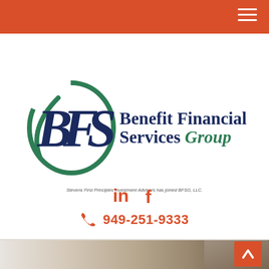Navigation bar with hamburger menu
[Figure (logo): Benefit Financial Services Group logo with BFS letters in circular swoosh design. BFS letters in dark navy blue, circular swoosh in teal/green. Company name 'Benefit Financial Services Group' in navy and green italic serif font. Tagline: 'Stevens First Principles Investment Advisors has joined BFSG, LLC.']
in  f
949-251-9333
[Figure (photo): Partial view of a person in business attire holding books or documents, faded/blurred background, light tones]